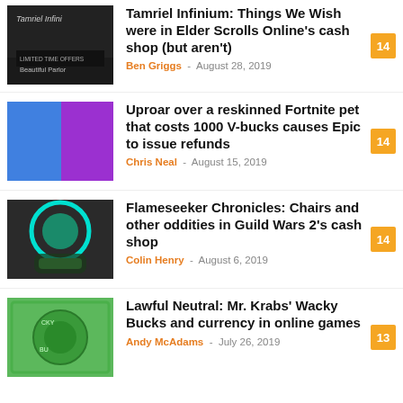Tamriel Infinium: Things We Wish were in Elder Scrolls Online's cash shop (but aren't) — Ben Griggs — August 28, 2019 — 14 comments
Uproar over a reskinned Fortnite pet that costs 1000 V-bucks causes Epic to issue refunds — Chris Neal — August 15, 2019 — 14 comments
Flameseeker Chronicles: Chairs and other oddities in Guild Wars 2's cash shop — Colin Henry — August 6, 2019 — 14 comments
Lawful Neutral: Mr. Krabs' Wacky Bucks and currency in online games — Andy McAdams — July 26, 2019 — 13 comments